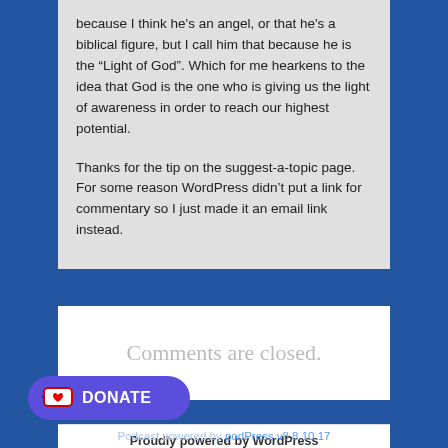because I think he's an angel, or that he's a biblical figure, but I call him that because he is the “Light of God”. Which for me hearkens to the idea that God is the one who is giving us the light of awareness in order to reach our highest potential.
Thanks for the tip on the suggest-a-topic page. For some reason WordPress didn’t put a link for commentary so I just made it an email link instead.
Comments are closed.
Proudly powered by WordPress
Podcast powered by podPress v8.8.10.17